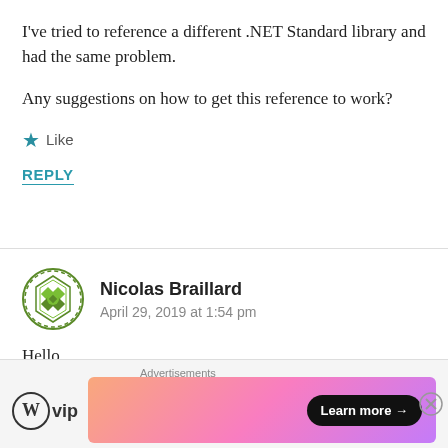I've tried to reference a different .NET Standard library and had the same problem.
Any suggestions on how to get this reference to work?
★ Like
REPLY
Nicolas Braillard
April 29, 2019 at 1:54 pm
Hello,
My question may be a little bit “stupid” … But where do
[Figure (other): WordPress VIP advertisement banner with Learn more button]
Advertisements